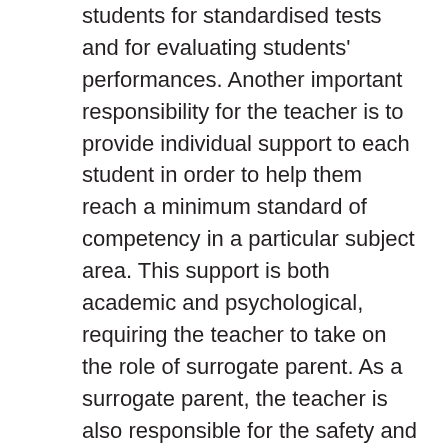students for standardised tests and for evaluating students' performances. Another important responsibility for the teacher is to provide individual support to each student in order to help them reach a minimum standard of competency in a particular subject area. This support is both academic and psychological, requiring the teacher to take on the role of surrogate parent. As a surrogate parent, the teacher is also responsible for the safety and wellbeing of the student during school hours, and for communicating with the student's parents on issues relating to their child's academic and psychological development.
In a Maker Education-style environment, most of the responsibilities that teachers are accustomed to and expected to perform remain. The teacher is still